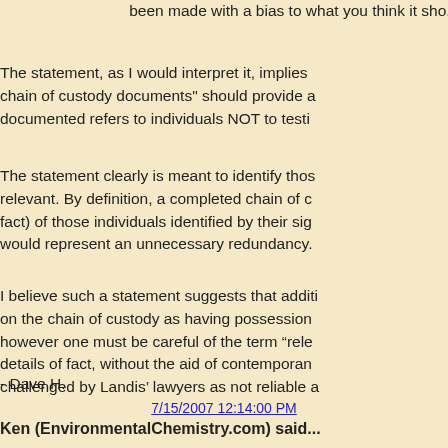been made with a bias to what you think it sho...
The statement, as I would interpret it, implies... chain of custody documents" should provide a... documented refers to individuals NOT to testi...
The statement clearly is meant to identify thos... relevant. By definition, a completed chain of c... fact) of those individuals identified by their sig... would represent an unnecessary redundancy.
I believe such a statement suggests that additi... on the chain of custody as having possession... however one must be careful of the term “relevant”... details of fact, without the aid of contemporan... challenged by Landis’ lawyers as not reliable a...
- Dave H.
7/15/2007 12:14:00 PM
Ken (EnvironmentalChemistry.com) said...
Dave H., as you’ll note above, we have been... extensively. If, however, your interpretation is... "industry standards" for such issues for their d...